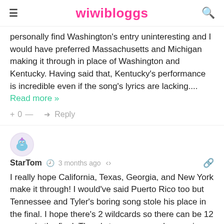wiwibloggs
personally find Washington's entry uninteresting and I would have preferred Massachusetts and Michigan making it through in place of Washington and Kentucky. Having said that, Kentucky's performance is incredible even if the song's lyrics are lacking.... Read more »
+ 0 — ➜ Reply
StarTom  3 months ago
I really hope California, Texas, Georgia, and New York make it through! I would've said Puerto Rico too but Tennessee and Tyler's boring song stole his place in the final. I hope there's 2 wildcards so there can be 12 songs in the final. There's too many good songs in this semi...
+ 0 — ➜ Reply